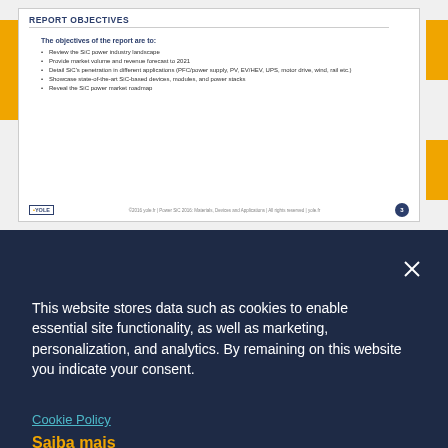REPORT OBJECTIVES
The objectives of the report are to:
Review the SiC power industry landscape
Provide market volume and revenue forecast to 2021
Detail SiC's penetration in different applications (PFC/power supply, PV, EV/HEV, UPS, motor drive, wind, rail etc.)
Showcase state-of-the-art SiC-based devices, modules, and power stacks
Reveal the SiC power market roadmap
©2016 yole.fr | Power SiC 2016: Materials, Devices and Applications | All rights reserved | yole.fr
This website stores data such as cookies to enable essential site functionality, as well as marketing, personalization, and analytics. By remaining on this website you indicate your consent.
Cookie Policy
Saiba mais